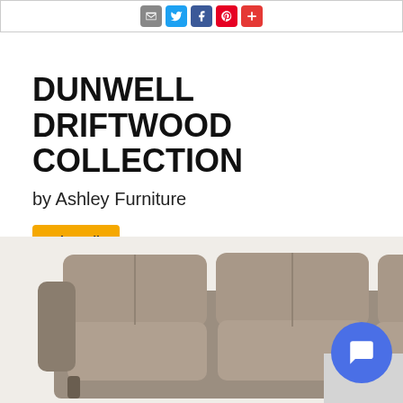[Figure (screenshot): Top bar with social share icons: email (gray), Twitter (blue), Facebook (dark blue), Pinterest (red), plus/add (red)]
DUNWELL DRIFTWOOD COLLECTION
by Ashley Furniture
View All
[Figure (photo): A gray leather reclining sofa/loveseat from the Dunwell Driftwood Collection by Ashley Furniture, photographed from a slight angle showing three seats with padded armrests]
[Figure (other): Blue circular chat/messenger button with a chat bubble icon, overlaid on a small gray panel in the bottom-right corner]